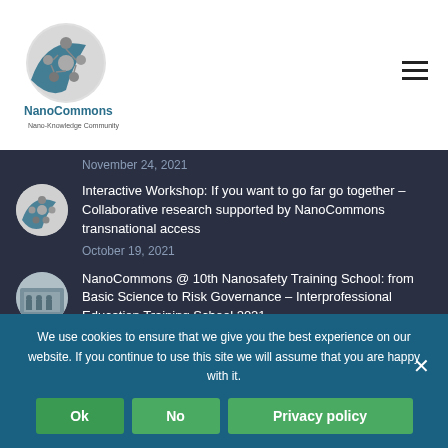[Figure (logo): NanoCommons logo with circular icon and text 'NanoCommons - Nano-Knowledge Community']
November 24, 2021
[Figure (logo): NanoCommons circular icon thumbnail]
Interactive Workshop: If you want to go far go together – Collaborative research supported by NanoCommons transnational access
October 19, 2021
[Figure (photo): Thumbnail image showing a training school or workshop setting]
NanoCommons @ 10th Nanosafety Training School: from Basic Science to Risk Governance – Interprofessional Education Training School 2021
We use cookies to ensure that we give you the best experience on our website. If you continue to use this site we will assume that you are happy with it.